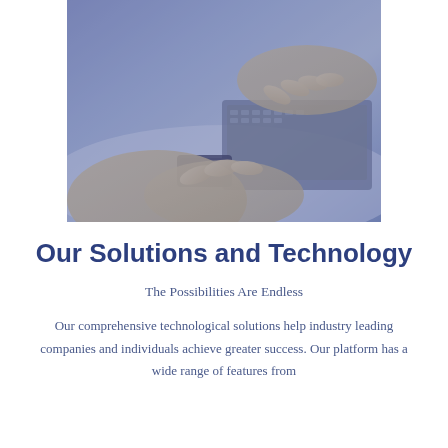[Figure (photo): Photo of hands holding a smartphone near a laptop keyboard on a desk, with a blue-purple color overlay tint.]
Our Solutions and Technology
The Possibilities Are Endless
Our comprehensive technological solutions help industry leading companies and individuals achieve greater success. Our platform has a wide range of features from